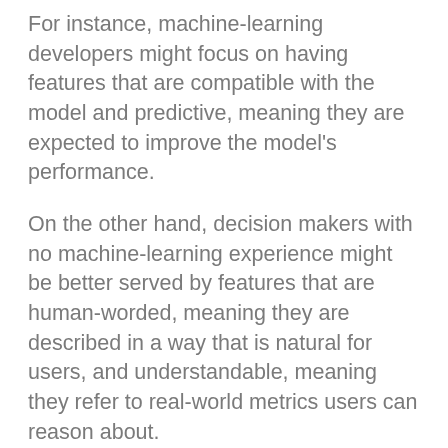For instance, machine-learning developers might focus on having features that are compatible with the model and predictive, meaning they are expected to improve the model's performance.
On the other hand, decision makers with no machine-learning experience might be better served by features that are human-worded, meaning they are described in a way that is natural for users, and understandable, meaning they refer to real-world metrics users can reason about.
“The taxonomy says, if you are making interpretable features, to what level are they